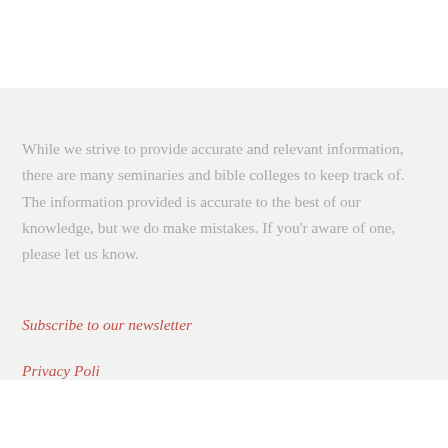While we strive to provide accurate and relevant information, there are many seminaries and bible colleges to keep track of. The information provided is accurate to the best of our knowledge, but we do make mistakes. If you'r aware of one, please let us know.
Subscribe to our newsletter
Privacy Policy